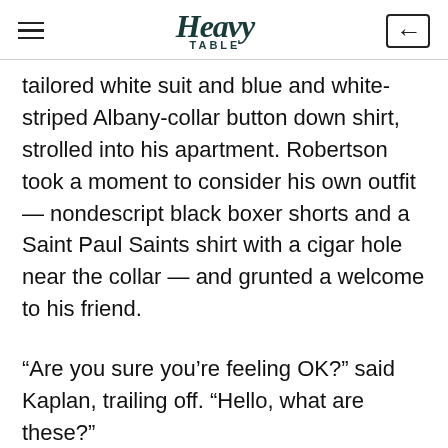Heavy Table
tailored white suit and blue and white-striped Albany-collar button down shirt, strolled into his apartment. Robertson took a moment to consider his own outfit — nondescript black boxer shorts and a Saint Paul Saints shirt with a cigar hole near the collar — and grunted a welcome to his friend.
“Are you sure you’re feeling OK?” said Kaplan, trailing off. “Hello, what are these?”